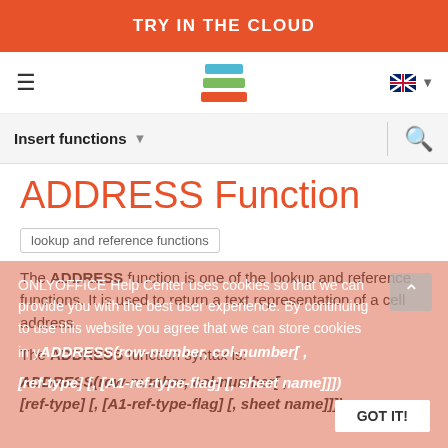TRY IN THE CLOUD
[Figure (logo): Stacked layers logo with three colored horizontal bars: blue, green, orange]
Insert functions
ADDRESS Function
lookup and reference functions
The ADDRESS function is one of the lookup and reference functions. It is used to return a text representation of a cell address.
The ADDRESS function syntax is:
ONLYOFFICE Help Center uses cookies so that we can provide you with the best user experience. By continuing to use this website you agree that we can store cookies in your...